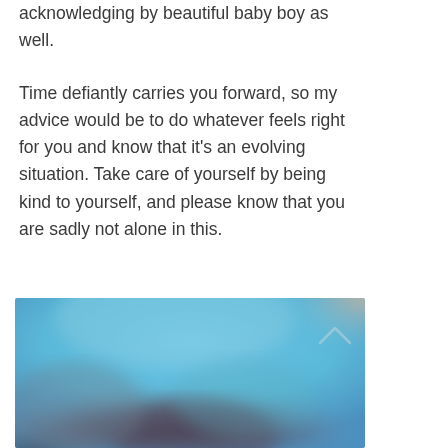acknowledging by beautiful baby boy as well.
Time defiantly carries you forward, so my advice would be to do whatever feels right for you and know that it's an evolving situation. Take care of yourself by being kind to yourself, and please know that you are sadly not alone in this.
[Figure (photo): A blurred outdoor photograph with blue sky, warm light tones at top right, and darker blurred elements in the lower portion suggesting a person or landscape.]